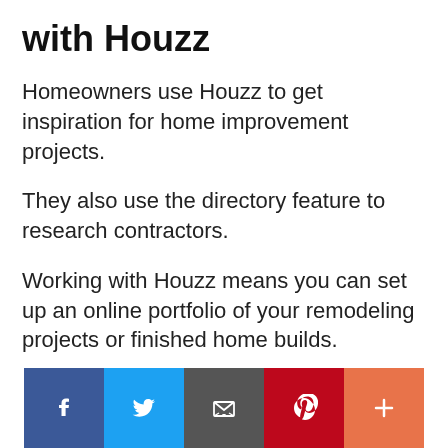with Houzz
Homeowners use Houzz to get inspiration for home improvement projects.
They also use the directory feature to research contractors.
Working with Houzz means you can set up an online portfolio of your remodeling projects or finished home builds.
Homeowners browse your portfolio and can
[Figure (infographic): Social sharing bar with Facebook, Twitter, Email, Pinterest, and More (+) buttons]